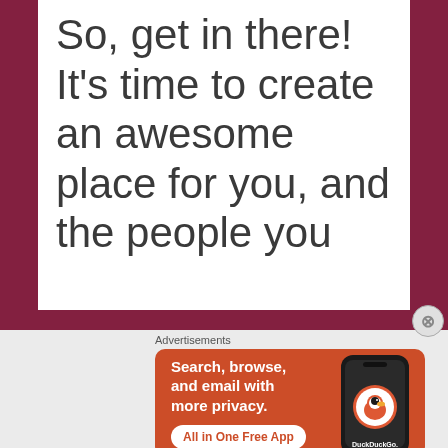So, get in there! It's time to create an awesome place for you, and the people you
Advertisements
[Figure (illustration): DuckDuckGo advertisement banner with orange background showing 'Search, browse, and email with more privacy. All in One Free App' text alongside a smartphone displaying the DuckDuckGo duck logo and app name.]